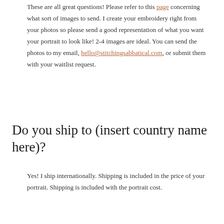These are all great questions! Please refer to this page concerning what sort of images to send. I create your embroidery right from your photos so please send a good representation of what you want your portrait to look like! 2-4 images are ideal. You can send the photos to my email, hello@stitchingsabbatical.com, or submit them with your waitlist request.
Do you ship to (insert country name here)?
Yes! I ship internationally. Shipping is included in the price of your portrait. Shipping is included with the portrait cost.